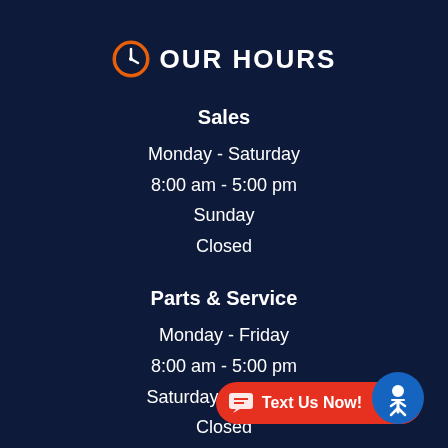OUR HOURS
Sales
Monday - Saturday
8:00 am - 5:00 pm
Sunday
Closed
Parts & Service
Monday - Friday
8:00 am - 5:00 pm
Saturday & Sunday
Closed